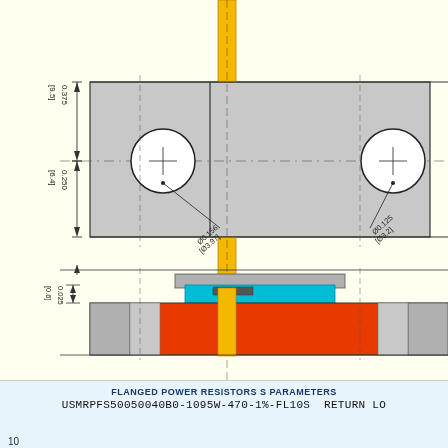[Figure (engineering-diagram): Technical engineering drawing of a flanged power resistor component shown in top view and side/cross-section view. The top view shows a rectangular gray body with two circular mounting holes, a yellow center post/tab, dimension lines indicating 0.375 [9.5] height and 0.250 [6.4] width with annotated diameters Ø0.156 [Ø3.97] and Ø0.125 [Ø3.2]. The side view shows a red resistor body with gray end caps and a cyan/blue top element. Dimension 0.025 [0.6] is shown. Dashed centerlines and solid dimension lines with arrows are present throughout.]
FLANGED POWER RESISTORS S PARAMETERS
USMRPFS50050040B0-1095W-470-1%-FL10S RETURN LO
10